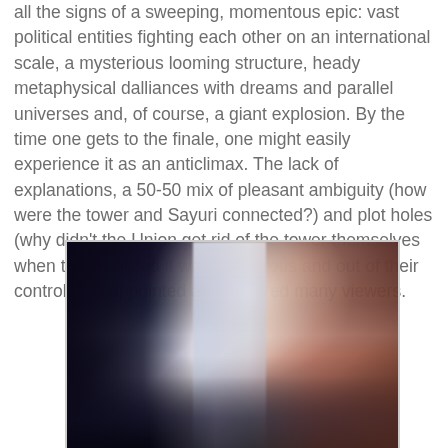all the signs of a sweeping, momentous epic: vast political entities fighting each other on an international scale, a mysterious looming structure, heady metaphysical dalliances with dreams and parallel universes and, of course, a giant explosion. By the time one gets to the finale, one might easily experience it as an anticlimax. The lack of explanations, a 50-50 mix of pleasant ambiguity (how were the tower and Sayuri connected?) and plot holes (why didn't the Union get rid of the tower themselves when they realized it was dangerous and out of their control?) disappointed and angered many viewers.
[Figure (illustration): An anime-style illustration showing a dramatic fantasy scene with a glowing waterfall or energy cascade in the center, dark forest or rocky terrain on the left, reddish-brown dramatic sky and landscape on the right, and shadowy figures or structures at the bottom.]